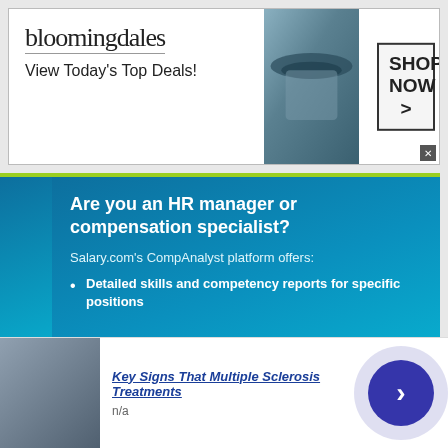[Figure (screenshot): Bloomingdale's advertisement banner showing logo, 'View Today's Top Deals!' tagline, a woman with a hat, and a 'SHOP NOW >' button]
Are you an HR manager or compensation specialist?
Salary.com's CompAnalyst platform offers:
Detailed skills and competency reports for specific positions
This site uses cookies and other similar technologies to provide site functionality, analyze traffic and usage, and
[Figure (screenshot): Bottom advertisement: Key Signs That Multiple Sclerosis Treatments with a person image and n/a label, and a purple circular arrow button]